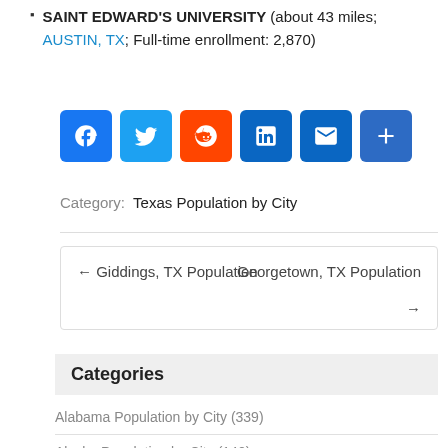SAINT EDWARD'S UNIVERSITY (about 43 miles; AUSTIN, TX; Full-time enrollment: 2,870)
[Figure (infographic): Social media share buttons: Facebook, Twitter, Reddit, LinkedIn, Email, and a share/plus button]
Category: Texas Population by City
← Giddings, TX Population   Georgetown, TX Population →
Categories
Alabama Population by City (339)
Alaska Population by City (140)
Arizona Population by City (159)